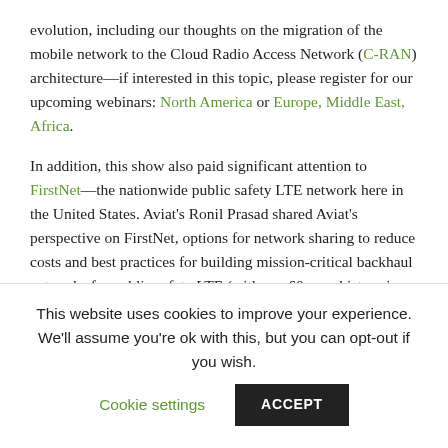evolution, including our thoughts on the migration of the mobile network to the Cloud Radio Access Network (C-RAN) architecture—if interested in this topic, please register for our upcoming webinars: North America or Europe, Middle East, Africa.

In addition, this show also paid significant attention to FirstNet—the nationwide public safety LTE network here in the United States. Aviat's Ronil Prasad shared Aviat's perspective on FirstNet, options for network sharing to reduce costs and best practices for building mission-critical backhaul networks for public safety LTE (with our 60-year history in public safety and our deployments in some of the
This website uses cookies to improve your experience. We'll assume you're ok with this, but you can opt-out if you wish.
Cookie settings  ACCEPT